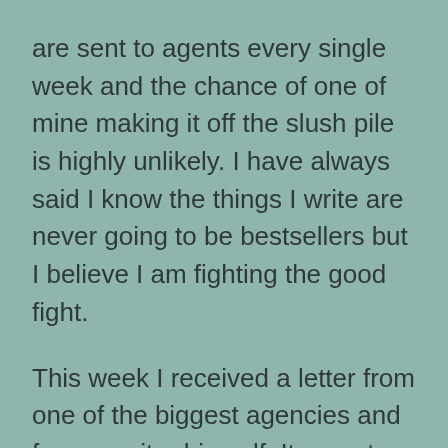are sent to agents every single week and the chance of one of mine making it off the slush pile is highly unlikely. I have always said I know the things I write are never going to be bestsellers but I believe I am fighting the good fight.
This week I received a letter from one of the biggest agencies and from a writer himself. It meant a great deal to me. He pointed out some small things that I could have changed but said I have talent. I wrote an email back to him to thank him for taking the time to respond. When you spend so much time on a